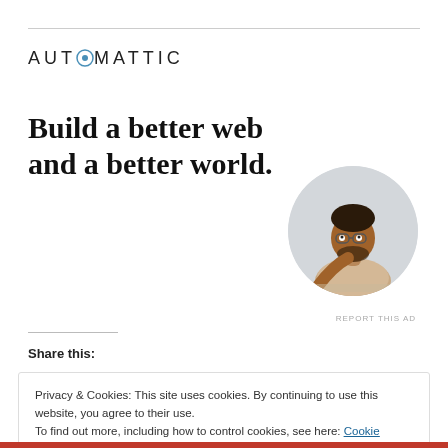[Figure (logo): Automattic logo with stylized 'O' containing a circular icon]
Build a better web and a better world.
[Figure (photo): Circular portrait photo of a man wearing glasses looking upward thoughtfully, resting chin on hand]
Apply
REPORT THIS AD
Share this:
Privacy & Cookies: This site uses cookies. By continuing to use this website, you agree to their use.
To find out more, including how to control cookies, see here: Cookie Policy
Close and accept